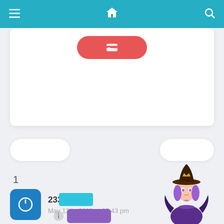Navigation bar with menu, home, and search icons
[Figure (screenshot): White card with a red pill-shaped button containing a wallet/card icon]
[Figure (screenshot): Two white pill-shaped buttons side by side]
1
[Figure (screenshot): User entry: blue square avatar with power icon, username 2333, date May 12th, 2020 at 07:43 pm]
[Figure (screenshot): Cyan rectangle button]
[Figure (screenshot): Info icon and purple rectangle button]
[Figure (illustration): Anime witch character with purple hair, brown hat with crown, purple dress and bat wings, standing in bottom-right corner]